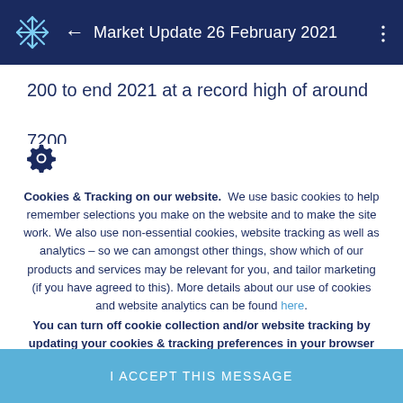Market Update 26 February 2021
200 to end 2021 at a record high of around 7200.
[Figure (other): Settings/gear icon]
Cookies & Tracking on our website. We use basic cookies to help remember selections you make on the website and to make the site work. We also use non-essential cookies, website tracking as well as analytics – so we can amongst other things, show which of our products and services may be relevant for you, and tailor marketing (if you have agreed to this). More details about our use of cookies and website analytics can be found here. You can turn off cookie collection and/or website tracking by updating your cookies & tracking preferences in your browser settings.
I ACCEPT THIS MESSAGE